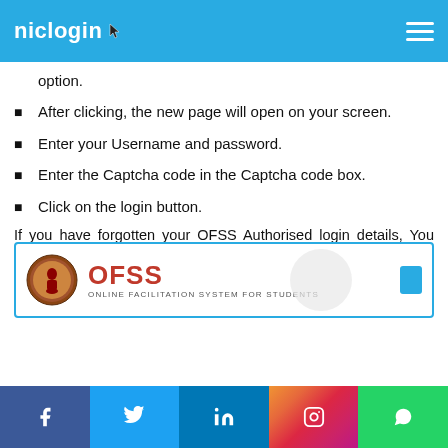niclogin
option.
After clicking, the new page will open on your screen.
Enter your Username and password.
Enter the Captcha code in the Captcha code box.
Click on the login button.
If you have forgotten your OFSS Authorised login details, You can reset it by clicking on the Reset Password option. You can also visit this given link in this line to get information about OUCW Student Login EAF.
[Figure (logo): OFSS - Online Facilitation System for Students logo with emblem]
Social media links: Facebook, Twitter, LinkedIn, Instagram, WhatsApp